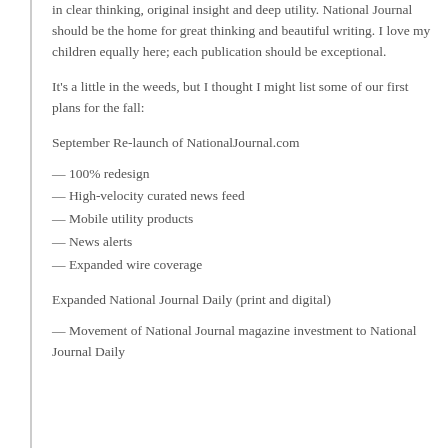in clear thinking, original insight and deep utility. National Journal should be the home for great thinking and beautiful writing. I love my children equally here; each publication should be exceptional.
It's a little in the weeds, but I thought I might list some of our first plans for the fall:
September Re-launch of NationalJournal.com
— 100% redesign
— High-velocity curated news feed
— Mobile utility products
— News alerts
— Expanded wire coverage
Expanded National Journal Daily (print and digital)
— Movement of National Journal magazine investment to National Journal Daily